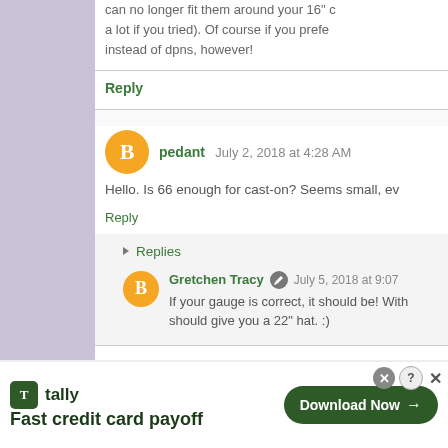can no longer fit them around your 16" c a lot if you tried). Of course if you prefe instead of dpns, however!
Reply
pedant July 2, 2018 at 4:28 AM
Hello. Is 66 enough for cast-on? Seems small, ev
Reply
Replies
Gretchen Tracy July 5, 2018 at 9:07
If your gauge is correct, it should be! With should give you a 22" hat. :)
[Figure (infographic): Tally app advertisement banner: 'Fast credit card payoff' with Download Now button]